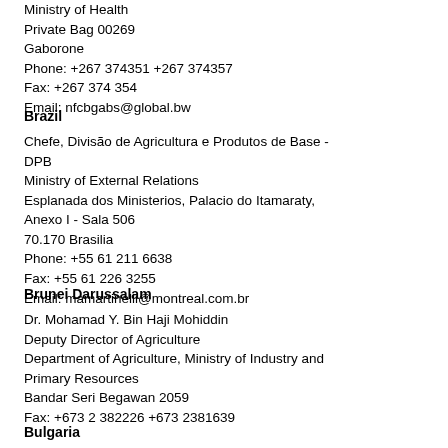Ministry of Health
Private Bag 00269
Gaborone
Phone: +267 374351 +267 374357
Fax: +267 374 354
Email: nfcbgabs@global.bw
Brazil
Chefe, Divisão de Agricultura e Produtos de Base - DPB
Ministry of External Relations
Esplanada dos Ministerios, Palacio do Itamaraty, Anexo I - Sala 506
70.170 Brasilia
Phone: +55 61 211 6638
Fax: +55 61 226 3255
Email: mamartinelli@montreal.com.br
Brunei Darussalam
Dr. Mohamad Y. Bin Haji Mohiddin
Deputy Director of Agriculture
Department of Agriculture, Ministry of Industry and Primary Resources
Bandar Seri Begawan 2059
Fax: +673 2 382226 +673 2381639
Bulgaria